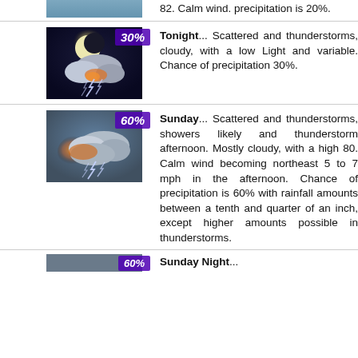82. Calm wind. precipitation is 20%.
[Figure (photo): Weather icon showing thunderstorm with lightning at night, with purple badge showing 30%]
Tonight... Scattered and thunderstorms, cloudy, with a low Light and variable. Chance of precipitation 30%.
[Figure (photo): Weather icon showing thunderstorm with lightning and clouds during day, with purple badge showing 60%]
Sunday... Scattered and thunderstorms, showers likely and thunderstorm afternoon. Mostly cloudy, with a high 80. Calm wind becoming northeast 5 to 7 mph in the afternoon. Chance of precipitation is 60% with rainfall amounts between a tenth and quarter of an inch, except higher amounts possible in thunderstorms.
[Figure (photo): Weather icon for Sunday Night with purple badge showing percentage]